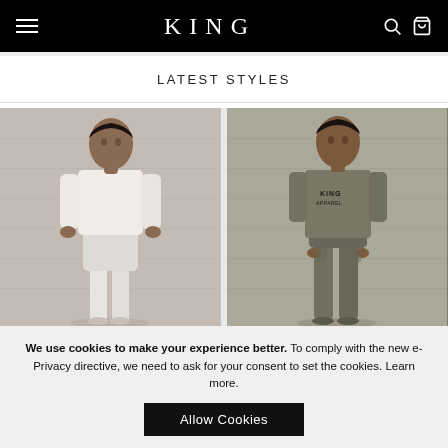KING
LATEST STYLES
[Figure (photo): Male model wearing white long-sleeve top and white shorts, standing against white brick wall]
[Figure (photo): Male model wearing olive green KING branded t-shirt and olive green jogger pants, standing against white brick wall]
We use cookies to make your experience better. To comply with the new e-Privacy directive, we need to ask for your consent to set the cookies. Learn more.
Allow Cookies